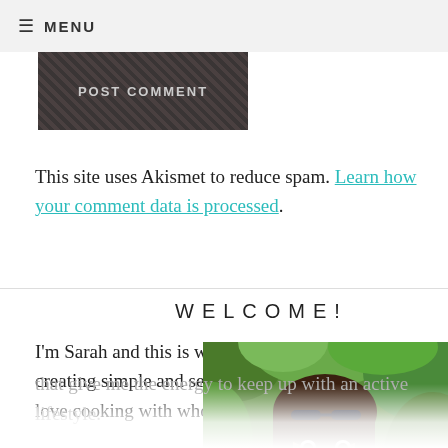≡ MENU
[Figure (screenshot): POST COMMENT button with dark textured background]
This site uses Akismet to reduce spam. Learn how your comment data is processed.
WELCOME!
I'm Sarah and this is where I share my journey creating simple and seasonal plant-based recipes. I love cooking with whole foods that give me the energy to keep up with an active lifestyle.
[Figure (photo): Photo of Sarah smiling outdoors among green foliage, wearing sunglasses on her head]